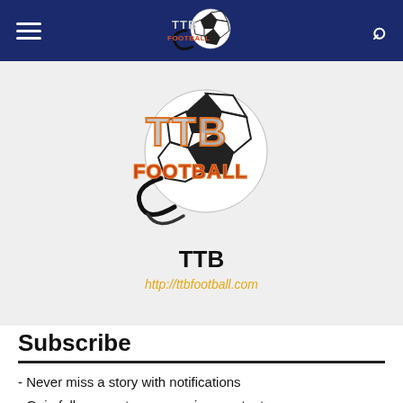TTB Football website header navigation bar
[Figure (logo): TTB Football logo — soccer ball with orange TTB FOOTBALL text and swirl, centered in navigation bar]
[Figure (logo): Large TTB Football profile logo — soccer ball with orange and red TTB FOOTBALL text, displayed in profile section]
TTB
http://ttbfootball.com
Subscribe
- Never miss a story with notifications
- Gain full access to our premium content